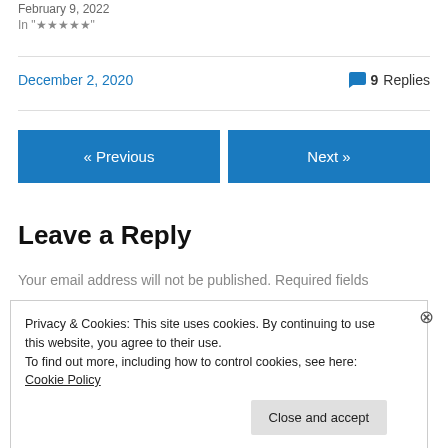February 9, 2022
In "★★★★★"
December 2, 2020
9 Replies
« Previous
Next »
Leave a Reply
Your email address will not be published. Required fields
Privacy & Cookies: This site uses cookies. By continuing to use this website, you agree to their use.
To find out more, including how to control cookies, see here: Cookie Policy
Close and accept